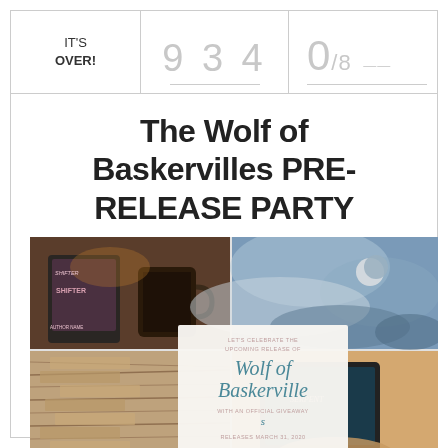IT'S OVER! | 9 3 4 | 0/8
The Wolf of Baskervilles PRE-RELEASE PARTY
[Figure (photo): Photo collage with four photos: e-reader with book cover, coffee mug with dark background top-left area; cloudy night sky with crescent moon top-right; stacked books pages bottom-left; hand holding e-reader bottom-right. Center overlay card reads: LET'S CELEBRATE THE UPCOMING RELEASE OF Wolf of Baskerville WITH AN OFFICIAL GIVEAWAY RELEASES MARCH 31, 2020]